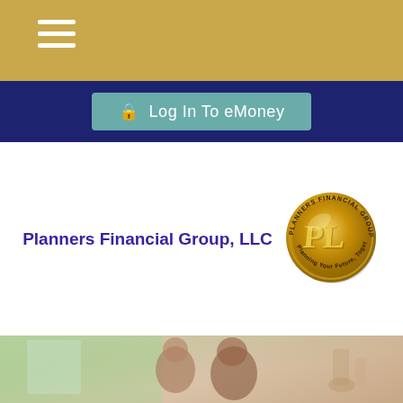Navigation menu (hamburger icon)
Log In To eMoney
[Figure (logo): Planners Financial Group LLC circular gold coin logo with 'PL' monogram initials and text 'Planning Your Future, Together' around the edge]
Planners Financial Group, LLC
[Figure (photo): Photo of a woman and young girl leaning foreheads together, smiling, in a bright kitchen/living space with greenery visible through windows]